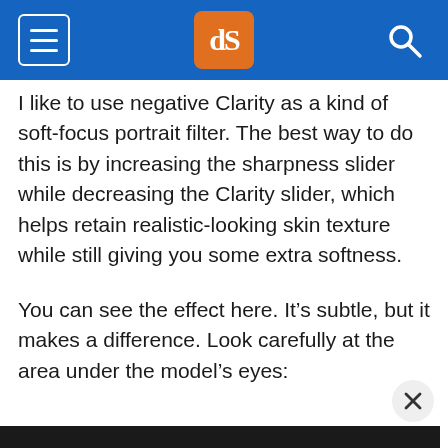dPS [navigation bar with hamburger menu, dPS logo, and search icon]
I like to use negative Clarity as a kind of soft-focus portrait filter. The best way to do this is by increasing the sharpness slider while decreasing the Clarity slider, which helps retain realistic-looking skin texture while still giving you some extra softness.
You can see the effect here. It's subtle, but it makes a difference. Look carefully at the area under the model's eyes:
[Figure (photo): Partial dark image strip visible at the bottom of the page, appearing to be a photo of a model, with a close/X button overlaid at bottom right]